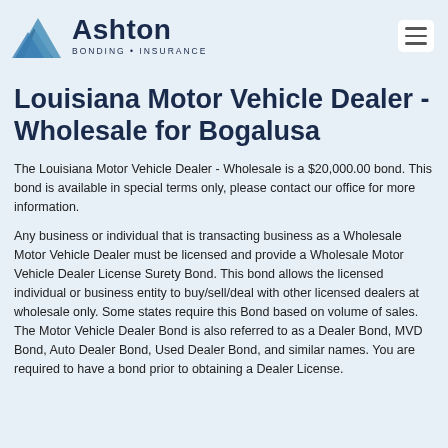[Figure (logo): Ashton Bonding Insurance logo with blue mountain graphic and company name]
Louisiana Motor Vehicle Dealer - Wholesale for Bogalusa
The Louisiana Motor Vehicle Dealer - Wholesale is a $20,000.00 bond. This bond is available in special terms only, please contact our office for more information.
Any business or individual that is transacting business as a Wholesale Motor Vehicle Dealer must be licensed and provide a Wholesale Motor Vehicle Dealer License Surety Bond. This bond allows the licensed individual or business entity to buy/sell/deal with other licensed dealers at wholesale only. Some states require this Bond based on volume of sales. The Motor Vehicle Dealer Bond is also referred to as a Dealer Bond, MVD Bond, Auto Dealer Bond, Used Dealer Bond, and similar names. You are required to have a bond prior to obtaining a Dealer License.